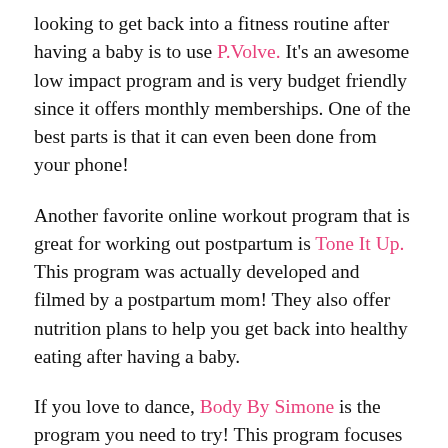looking to get back into a fitness routine after having a baby is to use P.Volve. It's an awesome low impact program and is very budget friendly since it offers monthly memberships. One of the best parts is that it can even been done from your phone!
Another favorite online workout program that is great for working out postpartum is Tone It Up. This program was actually developed and filmed by a postpartum mom! They also offer nutrition plans to help you get back into healthy eating after having a baby.
If you love to dance, Body By Simone is the program you need to try! This program focuses on dancing to get your heart beat up and even danced while she was pregnant. It also incorporates other